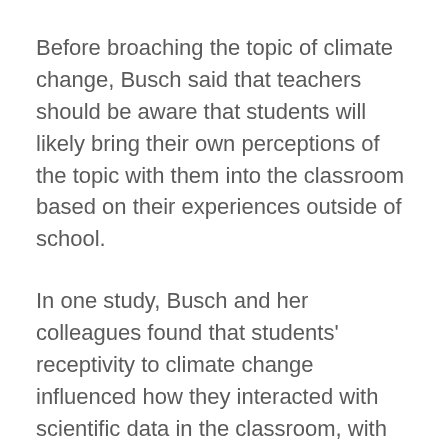Before broaching the topic of climate change, Busch said that teachers should be aware that students will likely bring their own perceptions of the topic with them into the classroom based on their experiences outside of school.
In one study, Busch and her colleagues found that students' receptivity to climate change influenced how they interacted with scientific data in the classroom, with students often interpreting it in a way that confirmed the belief they already held.
That research found that less receptive students looked at data about how the climate has changed over time and determined that they did not need to be